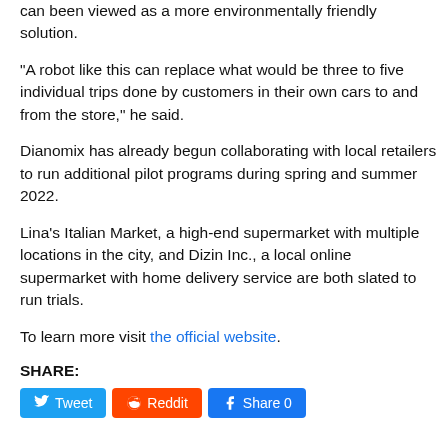can been viewed as a more environmentally friendly solution.
“A robot like this can replace what would be three to five individual trips done by customers in their own cars to and from the store,” he said.
Dianomix has already begun collaborating with local retailers to run additional pilot programs during spring and summer 2022.
Lina’s Italian Market, a high-end supermarket with multiple locations in the city, and Dizin Inc., a local online supermarket with home delivery service are both slated to run trials.
To learn more visit the official website.
SHARE:
[Figure (other): Social share buttons: Tweet (Twitter/blue), Reddit (orange), Share 0 (Facebook/blue)]